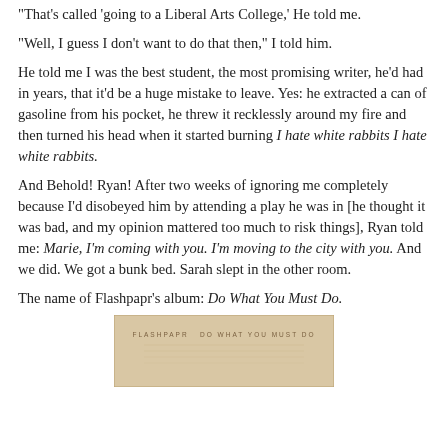"That's called 'going to a Liberal Arts College,' He told me.
"Well, I guess I don't want to do that then," I told him.
He told me I was the best student, the most promising writer, he'd had in years, that it'd be a huge mistake to leave. Yes: he extracted a can of gasoline from his pocket, he threw it recklessly around my fire and then turned his head when it started burning I hate white rabbits I hate white rabbits.
And Behold! Ryan! After two weeks of ignoring me completely because I'd disobeyed him by attending a play he was in [he thought it was bad, and my opinion mattered too much to risk things], Ryan told me: Marie, I'm coming with you. I'm moving to the city with you. And we did. We got a bunk bed. Sarah slept in the other room.
The name of Flashpapr's album: Do What You Must Do.
[Figure (illustration): Album cover image for Flashpapr 'Do What You Must Do' — a tan/beige colored album cover with text 'FLASHPAPR  DO WHAT YOU MUST DO' in small uppercase letters near the top.]